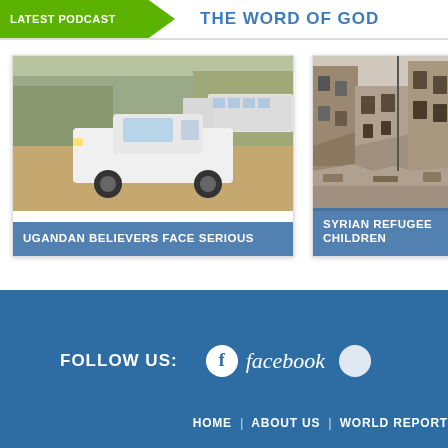LATEST PODCAST
THE WORD OF GOD
[Figure (photo): White pickup truck and buses on a dirt road in Uganda]
UGANDAN BELIEVERS FACE SERIOUS
[Figure (photo): Destroyed war-damaged buildings in Syria, rubble and ruins]
SYRIAN REFUGEE CHILDREN
FOLLOW US:  facebook
HOME  |  ABOUT US  |  WORLD REPORT